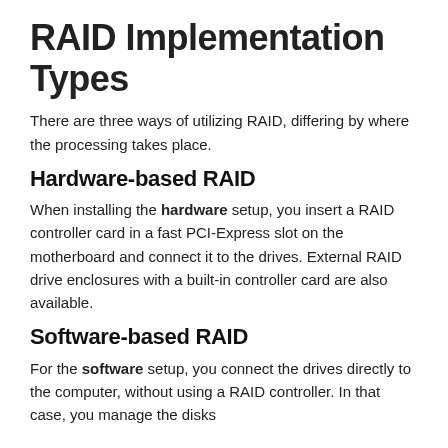RAID Implementation Types
There are three ways of utilizing RAID, differing by where the processing takes place.
Hardware-based RAID
When installing the hardware setup, you insert a RAID controller card in a fast PCI-Express slot on the motherboard and connect it to the drives. External RAID drive enclosures with a built-in controller card are also available.
Software-based RAID
For the software setup, you connect the drives directly to the computer, without using a RAID controller. In that case, you manage the disks